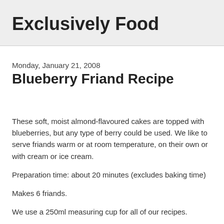Exclusively Food
Monday, January 21, 2008
Blueberry Friand Recipe
These soft, moist almond-flavoured cakes are topped with blueberries, but any type of berry could be used. We like to serve friands warm or at room temperature, on their own or with cream or ice cream.
Preparation time: about 20 minutes (excludes baking time)
Makes 6 friands.
We use a 250ml measuring cup for all of our recipes.
100g butter